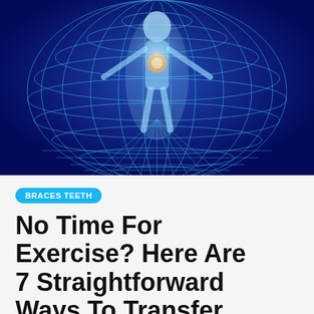[Figure (illustration): A glowing blue wireframe sphere encasing a human figure with arms outstretched, resembling the Vitruvian man, set against a dark blue background with a bright light at the center chest area]
BRACES TEETH
No Time For Exercise? Here Are 7 Straightforward Ways To Transfer More!